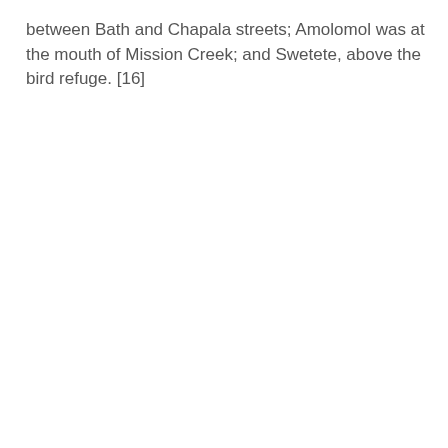between Bath and Chapala streets; Amolomol was at the mouth of Mission Creek; and Swetete, above the bird refuge. [16]